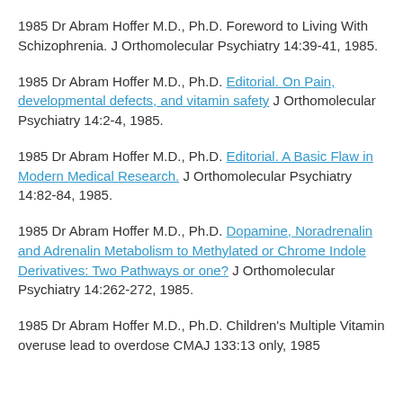1985 Dr Abram Hoffer M.D., Ph.D. Foreword to Living With Schizophrenia. J Orthomolecular Psychiatry 14:39-41, 1985.
1985 Dr Abram Hoffer M.D., Ph.D. Editorial. On Pain, developmental defects, and vitamin safety J Orthomolecular Psychiatry 14:2-4, 1985.
1985 Dr Abram Hoffer M.D., Ph.D. Editorial. A Basic Flaw in Modern Medical Research. J Orthomolecular Psychiatry 14:82-84, 1985.
1985 Dr Abram Hoffer M.D., Ph.D. Dopamine, Noradrenalin and Adrenalin Metabolism to Methylated or Chrome Indole Derivatives: Two Pathways or one? J Orthomolecular Psychiatry 14:262-272, 1985.
1985 Dr Abram Hoffer M.D., Ph.D. Children's Multiple Vitamin overuse lead to overdose CMAJ 133:13 only, 1985